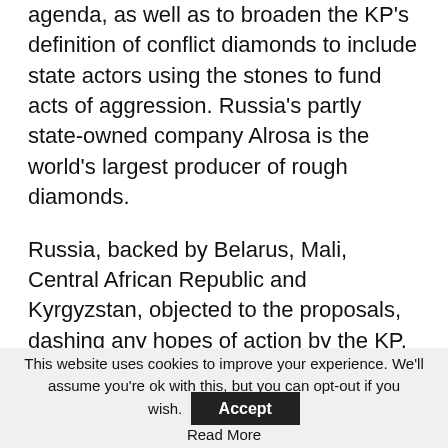agenda, as well as to broaden the KP's definition of conflict diamonds to include state actors using the stones to fund acts of aggression. Russia's partly state-owned company Alrosa is the world's largest producer of rough diamonds.
Russia, backed by Belarus, Mali, Central African Republic and Kyrgyzstan, objected to the proposals, dashing any hopes of action by the KP, which makes decisions by consensus.
“The fact that the KP is unable to even discuss whether it should continue certifying Russian
This website uses cookies to improve your experience. We’ll assume you’re ok with this, but you can opt-out if you wish. Accept Read More